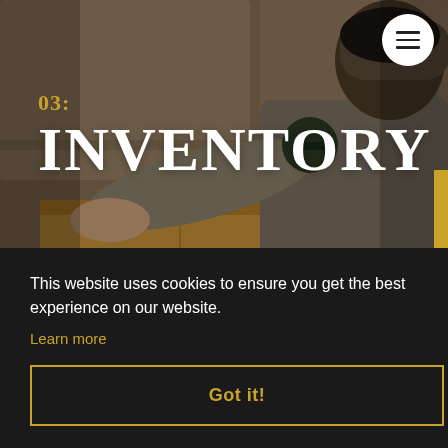[Figure (photo): A person in a grey shirt taping/sealing a cardboard box in a warehouse or packing area, with shelves and supplies in the background. Warm, slightly dark-tinted photo.]
03: INVENTORY
This website uses cookies to ensure you get the best experience on our website.
Learn more
Got it!